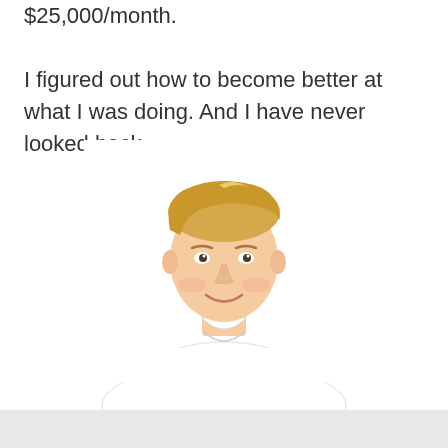$25,000/month.

I figured out how to become better at what I was doing. And I have never looked back.
[Figure (photo): A smiling young man with blonde hair wearing a white t-shirt, hands on hips, photographed against a white background, shown from roughly the waist up.]